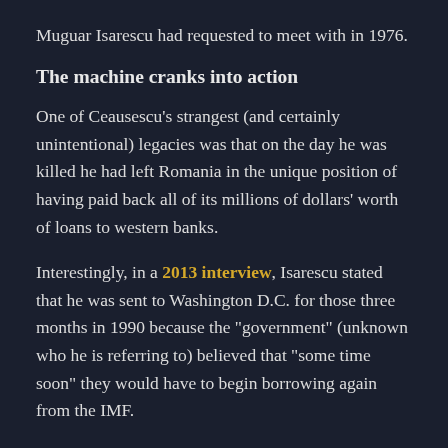Muguar Isarescu had requested to meet with in 1976.
The machine cranks into action
One of Ceausescu’s strangest (and certainly unintentional) legacies was that on the day he was killed he had left Romania in the unique position of having paid back all of its millions of dollars’ worth of loans to western banks.
Interestingly, in a 2013 interview, Isarescu stated that he was sent to Washington D.C. for those three months in 1990 because the “government” (unknown who he is referring to) believed that “some time soon” they would have to begin borrowing again from the IMF.